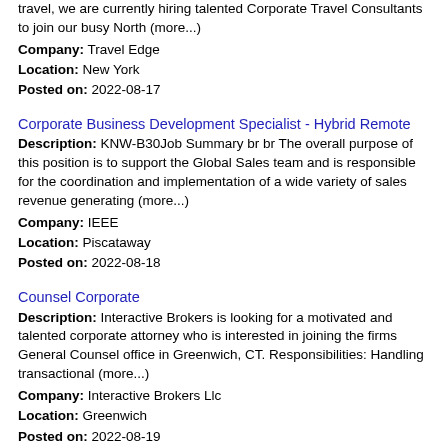travel, we are currently hiring talented Corporate Travel Consultants to join our busy North (more...)
Company: Travel Edge
Location: New York
Posted on: 2022-08-17
Corporate Business Development Specialist - Hybrid Remote
Description: KNW-B30Job Summary br br The overall purpose of this position is to support the Global Sales team and is responsible for the coordination and implementation of a wide variety of sales revenue generating (more...)
Company: IEEE
Location: Piscataway
Posted on: 2022-08-18
Counsel Corporate
Description: Interactive Brokers is looking for a motivated and talented corporate attorney who is interested in joining the firms General Counsel office in Greenwich, CT. Responsibilities: Handling transactional (more...)
Company: Interactive Brokers Llc
Location: Greenwich
Posted on: 2022-08-19
Corporate Properties Manager
Description: Our Administrative Services Department is seeking a new Corporate Properties Manager to join their team br br At